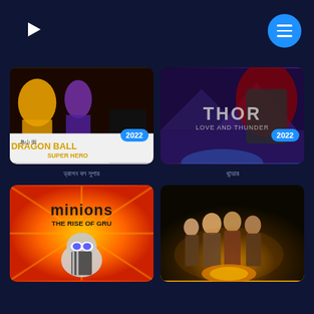[Figure (logo): Streaming service logo - blue C shape with play button]
[Figure (screenshot): Navigation menu hamburger button, blue circle]
[Figure (photo): Dragon Ball Super: Super Hero movie poster, 2022]
ড্রাগন বল সুপার
[Figure (photo): Thor: Love and Thunder movie poster, 2022]
থান্ডার
[Figure (photo): Minions: The Rise of Gru movie poster]
[Figure (photo): Jurassic World Dominion / adventure movie poster]